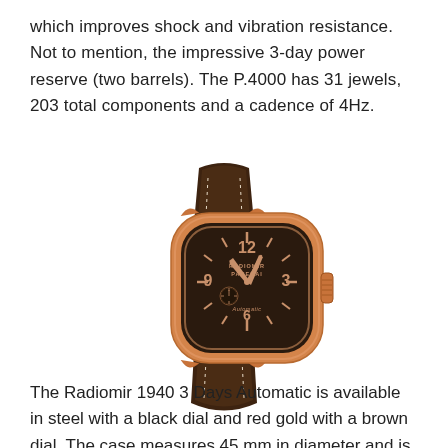which improves shock and vibration resistance. Not to mention, the impressive 3-day power reserve (two barrels). The P.4000 has 31 jewels, 203 total components and a cadence of 4Hz.
[Figure (photo): Panerai Radiomir 1940 3 Days Automatic watch with rose gold case, brown dial, gold Arabic numerals, gold hands, small seconds subdial, and dark brown alligator leather strap with white stitching.]
The Radiomir 1940 3 Days Automatic is available in steel with a black dial and red gold with a brown dial. The case measures 45 mm in diameter and is